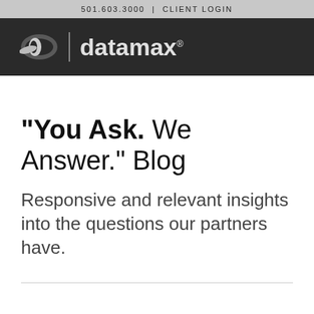501.603.3000  |  CLIENT LOGIN
[Figure (logo): Datamax logo: stylized D icon followed by vertical divider bar and 'datamax' wordmark with registered trademark symbol, white/gray text on dark background]
"You Ask. We Answer." Blog
Responsive and relevant insights into the questions our partners have.